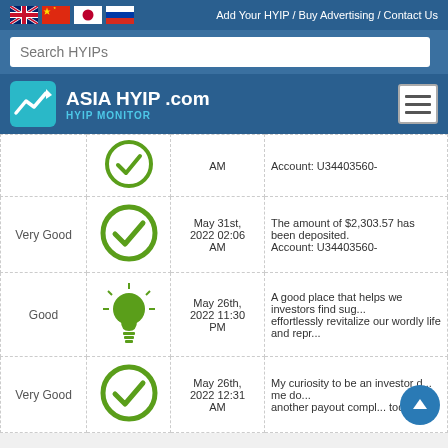Add Your HYIP / Buy Advertising / Contact Us
Search HYIPs
ASIA HYIP .com HYIP MONITOR
| Rating | Status | Date | Description |
| --- | --- | --- | --- |
|  |  | AM | Account: U34403560- |
| Very Good | checkmark | May 31st, 2022 02:06 AM | The amount of $2,303.57 has been deposited. Account: U34403560- |
| Good | lightbulb | May 26th, 2022 11:30 PM | A good place that helps we investors find sug... effortlessly revitalize our wordly life and repr... |
| Very Good | checkmark | May 26th, 2022 12:31 AM | My curiosity to be an investor d... me do... another payout compl... today... |